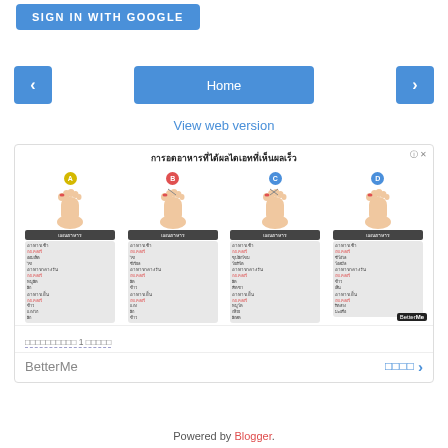[Figure (screenshot): Blue 'SIGN IN WITH GOOGLE' button at top left]
[Figure (screenshot): Navigation bar with left arrow, Home button, right arrow]
View web version
[Figure (infographic): Advertisement for BetterMe Thai food diet app showing 4 foot types (A, B, C, D) with meal plan cards in Thai language, title in Thai: การอดอาหารที่ได้ผลไดเอทที่เห็นผลเร็ว]
xxxxxxxxxx 1 xxxxx
BetterMe
xxxx >
Powered by Blogger.